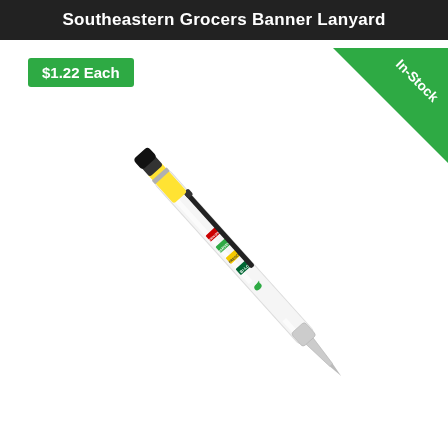Southeastern Grocers Banner Lanyard
$1.22 Each
In-Stock
[Figure (photo): A white banner lanyard pen with Southeastern Grocers branding and store logos (BI-LO, Fresco, Harveys, Winn-Dixie). The pen is shown at a diagonal angle with a black clip and yellow highlighter cap, pointing bottom-left. A green 'In-Stock' corner banner is visible top-right.]